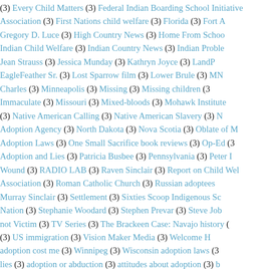(3) Every Child Matters (3) Federal Indian Boarding School Initiative Association (3) First Nations child welfare (3) Florida (3) Fort A... Gregory D. Luce (3) High Country News (3) Home From Schoo... Indian Child Welfare (3) Indian Country News (3) Indian Proble... Jean Strauss (3) Jessica Munday (3) Kathryn Joyce (3) LandP... EagleFeather Sr. (3) Lost Sparrow film (3) Lower Brule (3) MN ... Charles (3) Minneapolis (3) Missing (3) Missing children (3... Immaculate (3) Missouri (3) Mixed-bloods (3) Mohawk Institute (3) Native American Calling (3) Native American Slavery (3) ... Adoption Agency (3) North Dakota (3) Nova Scotia (3) Oblate of M... Adoption Laws (3) One Small Sacrifice book reviews (3) Op-Ed (3... Adoption and Lies (3) Patricia Busbee (3) Pennsylvania (3) Peter ... Wound (3) RADIO LAB (3) Raven Sinclair (3) Report on Child We... Association (3) Roman Catholic Church (3) Russian adoptees ... Murray Sinclair (3) Settlement (3) Sixties Scoop Indigenous S... Nation (3) Stephanie Woodard (3) Stephen Prevar (3) Steve Job... not Victim (3) TV Series (3) The Brackeen Case: Navajo history (... (3) US immigration (3) Vision Maker Media (3) Welcome H... adoption cost me (3) Winnipeg (3) Wisconsin adoption laws (3... lies (3) adoption or abduction (3) attitudes about adoption (3) b... (3) california adoptees (3) child abuse (3) class-action l... compensation (3) continuing crisis in Canada (3) court petitio... adoption (3) difficult searches (3) fake birth certificate (3) helpi... (3) human remains (3) kinship care (3) laura dennis (3) let... mascots (3) opening records (3) orphans (3) poverty (3) proposed...